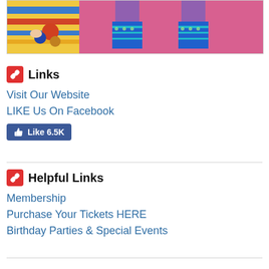[Figure (photo): Two photos side by side: left shows a child bowling with colorful balls on a striped lane; right shows legs wearing blue patterned socks against a pink background]
Links
Visit Our Website
LIKE Us On Facebook
[Figure (screenshot): Facebook Like button showing 6.5K likes]
Helpful Links
Membership
Purchase Your Tickets HERE
Birthday Parties & Special Events